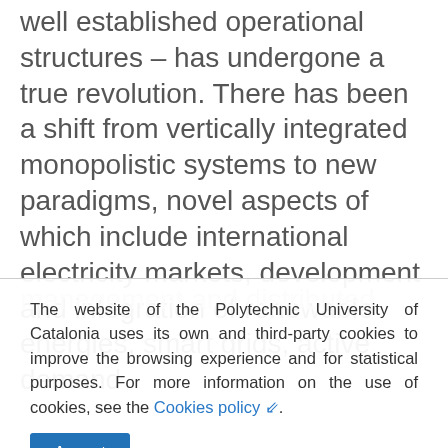well established operational structures – has undergone a true revolution. There has been a shift from vertically integrated monopolistic systems to new paradigms, novel aspects of which include international electricity markets, development and integration of renewable energies, smart grids, active demand management and distributed
The website of the Polytechnic University of Catalonia uses its own and third-party cookies to improve the browsing experience and for statistical purposes. For more information on the use of cookies, see the Cookies policy. Accept